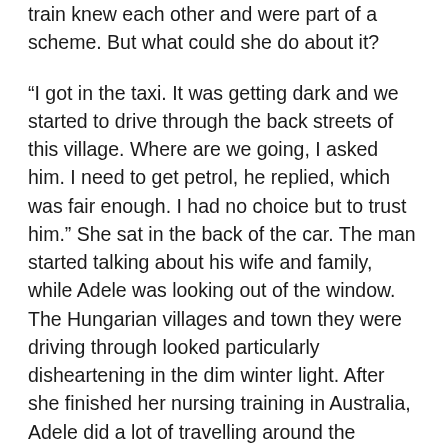train knew each other and were part of a scheme. But what could she do about it?
“I got in the taxi. It was getting dark and we started to drive through the back streets of this village. Where are we going, I asked him. I need to get petrol, he replied, which was fair enough. I had no choice but to trust him.” She sat in the back of the car. The man started talking about his wife and family, while Adele was looking out of the window. The Hungarian villages and town they were driving through looked particularly disheartening in the dim winter light. After she finished her nursing training in Australia, Adele did a lot of travelling around the continent with her husband. “I was like, I’ve done a lot of travelling, I can cope, but nothing could prepare me for the shock of Hungary and Romania.”
It was just getting darker and colder, but they made it and arrived at the railway station at Budapest. They found an